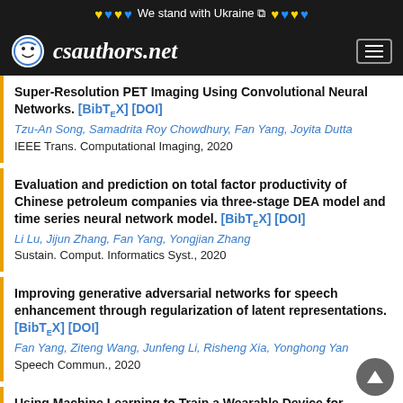We stand with Ukraine
[Figure (logo): csauthors.net website logo with smiley face icon]
Super-Resolution PET Imaging Using Convolutional Neural Networks. [BibTeX] [DOI]
Tzu-An Song, Samadrita Roy Chowdhury, Fan Yang, Joyita Dutta
IEEE Trans. Computational Imaging, 2020
Evaluation and prediction on total factor productivity of Chinese petroleum companies via three-stage DEA model and time series neural network model. [BibTeX] [DOI]
Li Lu, Jijun Zhang, Fan Yang, Yongjian Zhang
Sustain. Comput. Informatics Syst., 2020
Improving generative adversarial networks for speech enhancement through regularization of latent representations. [BibTeX] [DOI]
Fan Yang, Ziteng Wang, Junfeng Li, Risheng Xia, Yonghong Yan
Speech Commun., 2020
Using Machine Learning to Train a Wearable Device for...